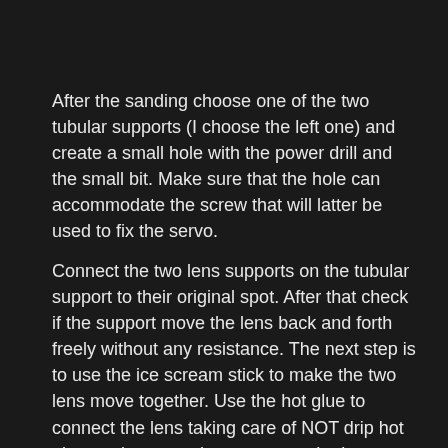After the sanding choose one of the two tubular supports (I choose the left one) and create a small hole with the power drill and the small bit. Make sure that the hole can accommodate the screw that will latter be used to fix the servo.
Connect the two lens supports on the tubular support to their original spot. After that check if the support move the lens back and forth freely without any resistance. The next step is to use the ice scream stick to make the two lens move together. Use the hot glue to connect the lens taking care of NOT drip hot glue on the area where you turn the lens to remove them. There is just enough space to do that but without any margin for mistakes. Again, avoid gluing the lens to the support, since this